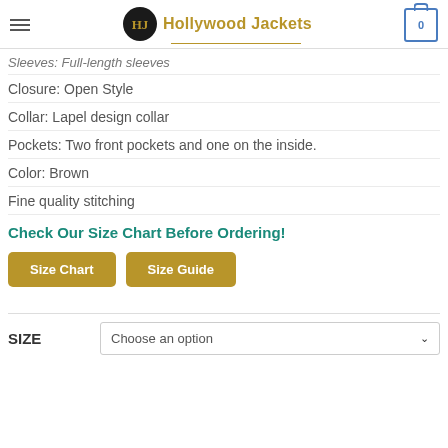Hollywood Jackets
Sleeves: Full-length sleeves
Closure: Open Style
Collar: Lapel design collar
Pockets: Two front pockets and one on the inside.
Color: Brown
Fine quality stitching
Check Our Size Chart Before Ordering!
Size Chart  Size Guide
SIZE   Choose an option